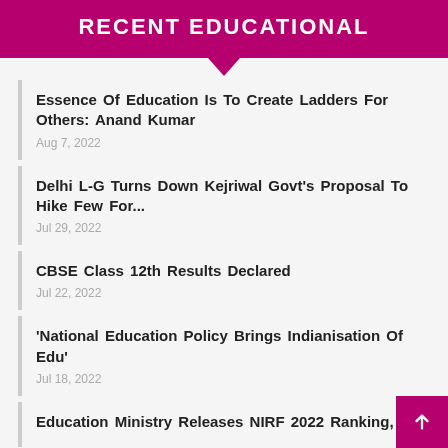RECENT EDUCATIONAL
Essence Of Education Is To Create Ladders For Others: Anand Kumar
Aug 7, 2022
Delhi L-G Turns Down Kejriwal Govt's Proposal To Hike Few For...
Jul 29, 2022
CBSE Class 12th Results Declared
Jul 22, 2022
'National Education Policy Brings Indianisation Of Edu'
Jul 18, 2022
Education Ministry Releases NIRF 2022 Ranking,